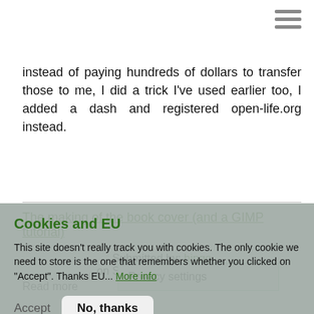instead of paying hundreds of dollars to transfer those to me, I did a trick I've used earlier too, I added a dash and registered open-life.org instead.
The making of the book cover (and a GIMP tutorial)
Submitted by: hingo on Sun, 2006-10-22 19:22
Read more
Privacy settings
Cookies and EU
This site doesn't really track you with cookies. The only cookie we need to store is the one that remembers whether you clicked on "Accept". Thanks EU... More info
Accept
No, thanks